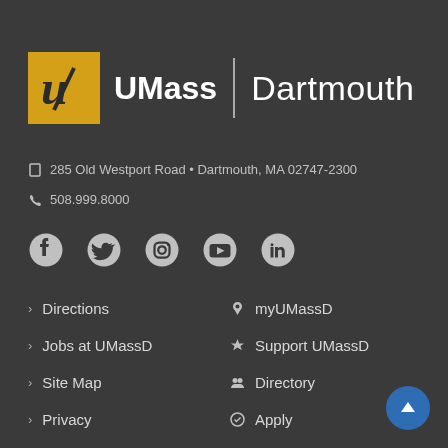[Figure (logo): UMass Dartmouth logo with gold square containing stylized U and text UMass | Dartmouth]
285 Old Westport Road • Dartmouth, MA 02747-2300
508.999.8000
[Figure (infographic): Social media icons row: Facebook, Twitter, Instagram, YouTube, LinkedIn]
Directions
Jobs at UMassD
Site Map
Privacy
Contact
myUMassD
Support UMassD
Directory
Apply
Visit
Request Info
Check Application Status